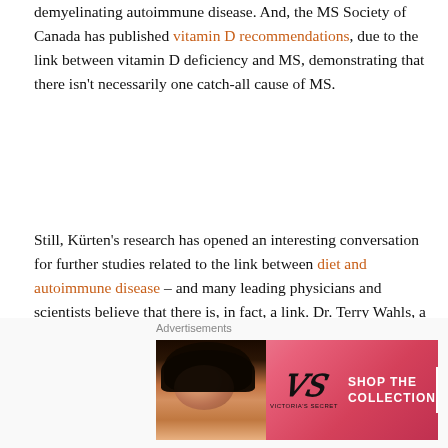demyelinating autoimmune disease. And, the MS Society of Canada has published vitamin D recommendations, due to the link between vitamin D deficiency and MS, demonstrating that there isn't necessarily one catch-all cause of MS.
Still, Kürten's research has opened an interesting conversation for further studies related to the link between diet and autoimmune disease – and many leading physicians and scientists believe that there is, in fact, a link. Dr. Terry Wahls, a physician who has MS herself, published a book called The Wahls Protocol about how she used Paleo eating principals to put her MS symptoms into remission.
For all of our readers with multiple sclerosis:
[Figure (other): Victoria's Secret advertisement banner showing a model with curly hair, the Victoria's Secret logo, and text 'SHOP THE COLLECTION' with a 'SHOP NOW' button on a pink/red gradient background. Labeled 'Advertisements' above.]